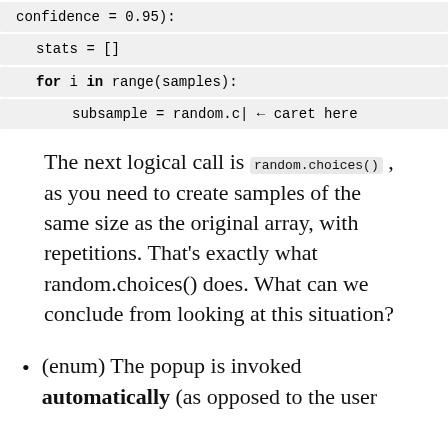confidence = 0.95):
stats = []
for i in range(samples):
subsample = random.c| ← caret here
The next logical call is random.choices(), as you need to create samples of the same size as the original array, with repetitions. That's exactly what random.choices() does. What can we conclude from looking at this situation?
(enum) The popup is invoked automatically (as opposed to the user